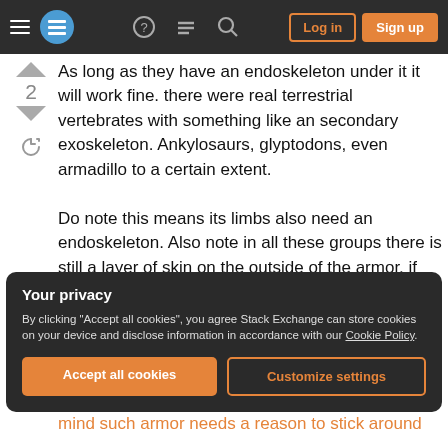Stack Exchange navigation bar with hamburger menu, logo, help, chat, search icons, Log in and Sign up buttons
As long as they have an endoskeleton under it it will work fine. there were real terrestrial vertebrates with something like an secondary exoskeleton. Ankylosaurs, glyptodons, even armadillo to a certain extent.

Do note this means its limbs also need an endoskeleton. Also note in all these groups there is still a layer of skin on the outside of the armor, if they don't they will need to periodically shed the exoskeleton.
Your privacy
By clicking "Accept all cookies", you agree Stack Exchange can store cookies on your device and disclose information in accordance with our Cookie Policy.
Accept all cookies
Customize settings
mind such armor needs a reason to stick around